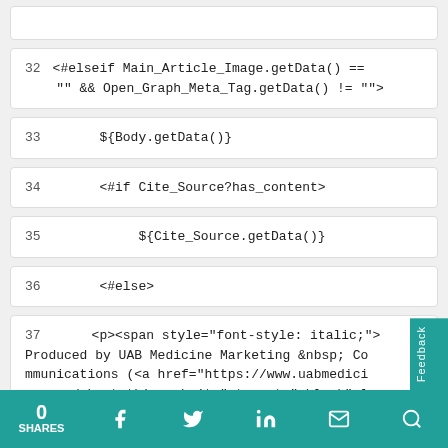32   <#elseif Main_Article_Image.getData() == "" && Open_Graph_Meta_Tag.getData() != "">
33        ${Body.getData()}
34        <#if Cite_Source?has_content>
35             ${Cite_Source.getData()}
36        <#else>
37        <p><span style="font-style: italic;">Produced by UAB Medicine Marketing &nbsp; Communications (<a href="https://www.uabmedicine.org/about-this-website" target="_blank">l
0 SHARES | Facebook | Twitter | LinkedIn | Email | Search | Feedback